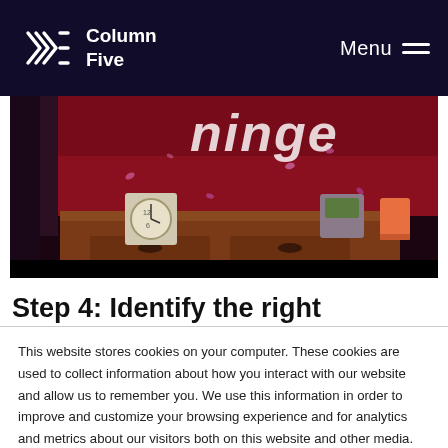Column Five | Menu
[Figure (photo): Screenshot of a website showing a dark atmospheric photo of a dresser with a clock, plant pot, and orange cup, with pink petal confetti and red wall background, and partial text 'Things' visible.]
Step 4: Identify the right
This website stores cookies on your computer. These cookies are used to collect information about how you interact with our website and allow us to remember you. We use this information in order to improve and customize your browsing experience and for analytics and metrics about our visitors both on this website and other media. To find out more about the cookies we use, see our Privacy Policy
Accept